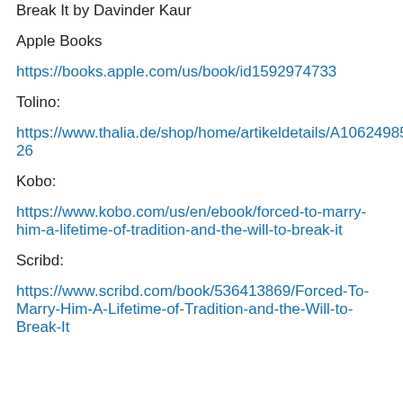Break It by Davinder Kaur
Apple Books
https://books.apple.com/us/book/id1592974733
Tolino:
https://www.thalia.de/shop/home/artikeldetails/A10624985 26
Kobo:
https://www.kobo.com/us/en/ebook/forced-to-marry-him-a-lifetime-of-tradition-and-the-will-to-break-it
Scribd:
https://www.scribd.com/book/536413869/Forced-To-Marry-Him-A-Lifetime-of-Tradition-and-the-Will-to-Break-It